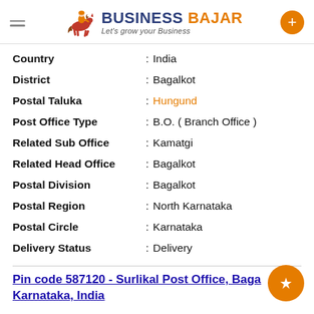BUSINESS BAJAR — Let's grow your Business
| Field | Value |
| --- | --- |
| Country | India |
| District | Bagalkot |
| Postal Taluka | Hungund |
| Post Office Type | B.O. ( Branch Office ) |
| Related Sub Office | Kamatgi |
| Related Head Office | Bagalkot |
| Postal Division | Bagalkot |
| Postal Region | North Karnataka |
| Postal Circle | Karnataka |
| Delivery Status | Delivery |
Pin code 587120 - Surlikal Post Office, Bagalkot, Karnataka, India